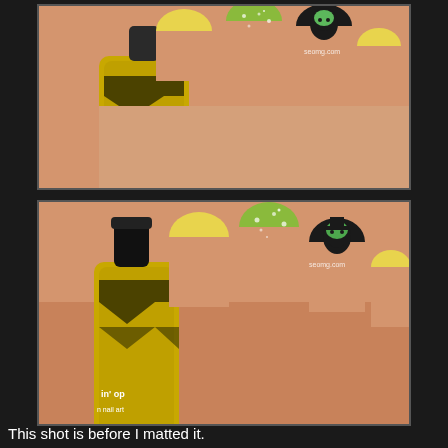[Figure (photo): Close-up photo of a hand holding a yellow-green nail polish bottle labeled 'Poppin' with nails painted in yellow, green glitter, and black with green witch face nail art]
[Figure (photo): Second close-up photo of same hand and nail polish bottle from a slightly different angle, showing yellow nails, green glitter nail, and black witch face nail art before matte finish]
This shot is before I matted it.